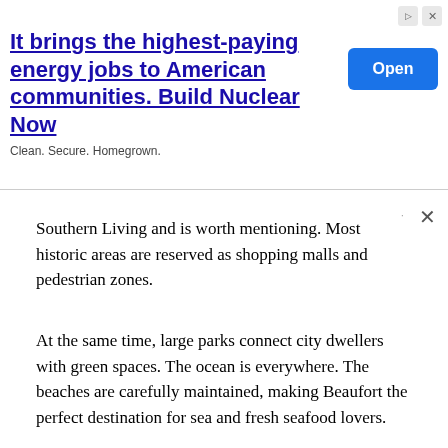[Figure (other): Advertisement banner: 'It brings the highest-paying energy jobs to American communities. Build Nuclear Now' with an 'Open' button and 'Clean. Secure. Homegrown.' subtext]
Southern Living and is worth mentioning. Most historic areas are reserved as shopping malls and pedestrian zones.
At the same time, large parks connect city dwellers with green spaces. The ocean is everywhere. The beaches are carefully maintained, making Beaufort the perfect destination for sea and fresh seafood lovers.
You can find a lot of great things to do in Beaufort from this post on The Charlotte Observer.
Celadon